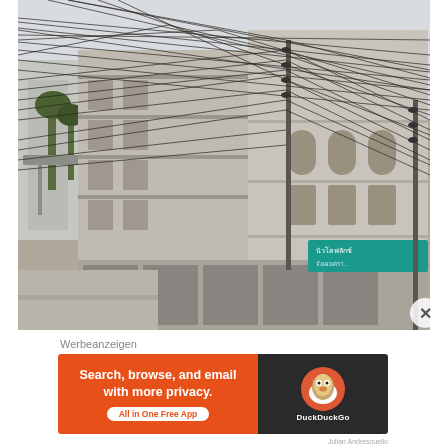[Figure (photo): Street-level photograph of a weathered multi-story building in Bangkok, Thailand, with an extremely dense tangle of electrical wires strung across the front of the building and along utility poles. The street below is empty. A teal/cyan shop sign with Thai script is visible at ground level. In the far background, a modern elevated structure and taller buildings are visible.]
Werbeanzeigen
[Figure (other): DuckDuckGo advertisement banner. Left orange section reads 'Search, browse, and email with more privacy. All in One Free App'. Right dark section shows the DuckDuckGo duck logo and brand name.]